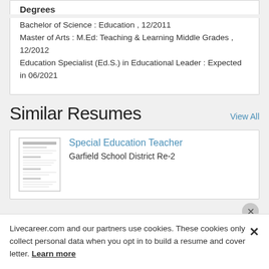Degrees
Bachelor of Science : Education , 12/2011
Master of Arts : M.Ed: Teaching & Learning Middle Grades , 12/2012
Education Specialist (Ed.S.) in Educational Leader : Expected in 06/2021
Similar Resumes
View All
[Figure (other): Thumbnail image of a resume document]
Special Education Teacher
Garfield School District Re-2
Livecareer.com and our partners use cookies. These cookies only collect personal data when you opt in to build a resume and cover letter. Learn more